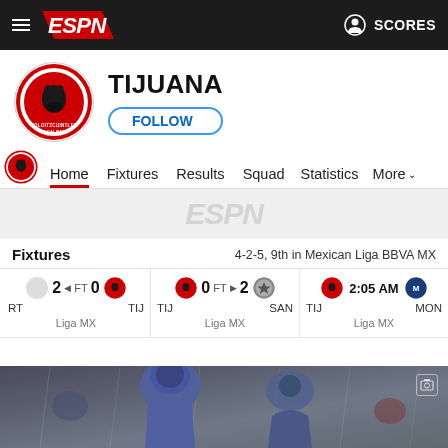ESPN — SCORES
[Figure (logo): Club Tijuana circular crest logo with dog and shield on red/black background]
TIJUANA
FOLLOW
[Figure (screenshot): Navigation bar with Home (active/underlined), Fixtures, Results, Squad, Statistics, More tabs]
[Figure (illustration): ESPN watermark logo faintly shown in grey/light background area]
Fixtures
4-2-5, 9th in Mexican Liga BBVA MX
2  ◄ FT  0
RT  TIJ
Liga MX
TIJ  0  FT ► 2  SAN
Liga MX
TIJ  2:05 AM  MON
Liga MX
[Figure (photo): Soccer players in rain, wearing blue/purple hooded jackets, dark rainy background]